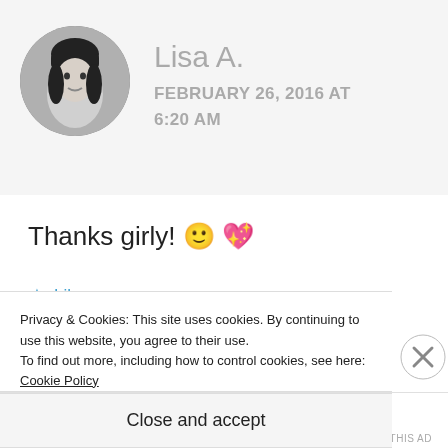[Figure (photo): Circular avatar photo of a woman with dark hair and bangs, black and white photo]
Lisa A.
FEBRUARY 26, 2016 AT 6:20 AM
Thanks girly! 🙂 💖
★ Like
Privacy & Cookies: This site uses cookies. By continuing to use this website, you agree to their use.
To find out more, including how to control cookies, see here: Cookie Policy
Close and accept
Post on the go.
REPORT THIS AD